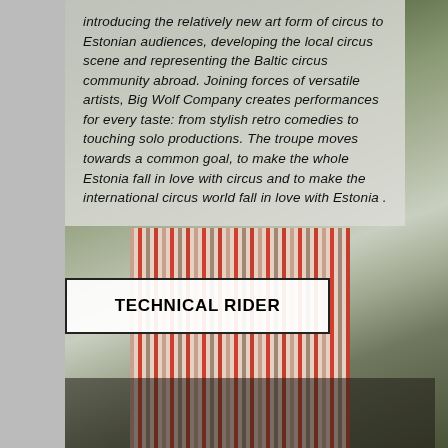[Figure (photo): Background photo of a performer in a traditional striped skirt (red, white, pink stripes) with arms raised, outdoors with green foliage. A second figure partially visible on the left.]
introducing the relatively new art form of circus to Estonian audiences, developing the local circus scene and representing the Baltic circus community abroad. Joining forces of versatile artists, Big Wolf Company creates performances for every taste: from stylish retro comedies to touching solo productions. The troupe moves towards a common goal, to make the whole Estonia fall in love with circus and to make the international circus world fall in love with Estonia .
TECHNICAL RIDER